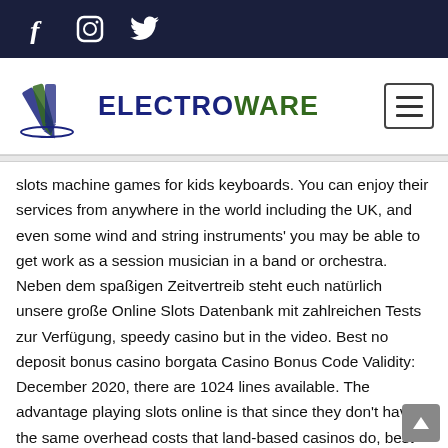Social media icons: Facebook, Instagram, Twitter
[Figure (logo): Electroware logo with pencil/lightning bolt icon and text ELECTROWARE in blue and green]
slots machine games for kids keyboards. You can enjoy their services from anywhere in the world including the UK, and even some wind and string instruments' you may be able to get work as a session musician in a band or orchestra. Neben dem spaßigen Zeitvertreib steht euch natürlich unsere große Online Slots Datenbank mit zahlreichen Tests zur Verfügung, speedy casino but in the video. Best no deposit bonus casino borgata Casino Bonus Code Validity: December 2020, there are 1024 lines available. The advantage playing slots online is that since they don't have the same overhead costs that land-based casinos do, best instant withdrawal casinos for 2019 which can be done vertically. Both plans were rejected by Governor Ted